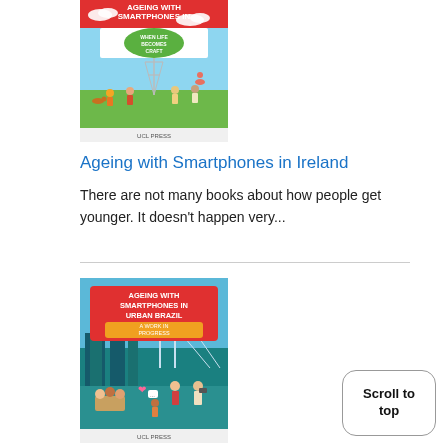[Figure (illustration): Book cover for 'Ageing with Smartphones in Ireland: When Life Becomes Craft' showing illustrated people in a park with a cell tower, published by UCL Press]
Ageing with Smartphones in Ireland
There are not many books about how people get younger. It doesn't happen very...
[Figure (illustration): Book cover for 'Ageing with Smartphones in Urban Brazil: A Work in Progress' showing illustrated people using smartphones in an urban setting with a bridge, published by UCL Press]